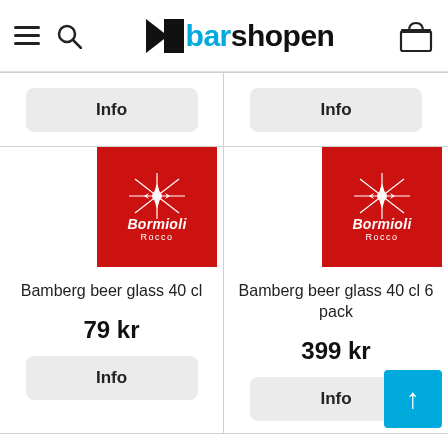[Figure (logo): Barshopen website header with hamburger menu, search icon, Barshopen logo, and cart icon]
[Figure (other): Info button for product in top-left grid cell]
[Figure (other): Info button for product in top-right grid cell]
[Figure (logo): Bormioli Rocco brand logo (red square with star graphic) for Bamberg beer glass 40 cl]
Bamberg beer glass 40 cl
79 kr
[Figure (other): Info button for Bamberg beer glass 40 cl]
[Figure (logo): Bormioli Rocco brand logo (red square with star graphic) for Bamberg beer glass 40 cl 6 pack]
Bamberg beer glass 40 cl 6 pack
399 kr
[Figure (other): Info button for Bamberg beer glass 40 cl 6 pack]